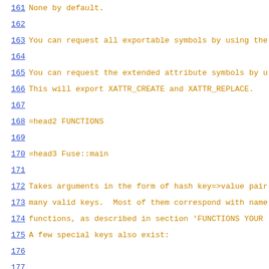161  None by default.
162
163  You can request all exportable symbols by using the
164
165  You can request the extended attribute symbols by u
166  This will export XATTR_CREATE and XATTR_REPLACE.
167
168  =head2 FUNCTIONS
169
170  =head3 Fuse::main
171
172  Takes arguments in the form of hash key=>value pair
173  many valid keys.  Most of them correspond with name
174  functions, as described in section 'FUNCTIONS YOUR
175  A few special keys also exist:
176
177
178  debug => boolean
179
180  =over 1
181
182  This turns FUSE call tracing on and off.  Default i
183